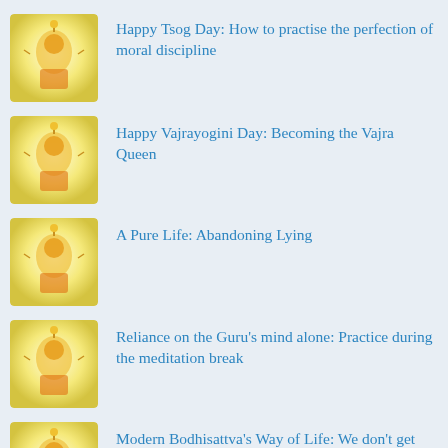Happy Tsog Day: How to practise the perfection of moral discipline
Happy Vajrayogini Day: Becoming the Vajra Queen
A Pure Life: Abandoning Lying
Reliance on the Guru's mind alone: Practice during the meditation break
Modern Bodhisattva's Way of Life: We don't get mad at fire when it burns
Happy Heruka and Vajrayogini Month: May the Dakinis Forever Dance in your Subtle Body
Modern Bodhisattva's Way of Life: Taking the leap to exchange self with others